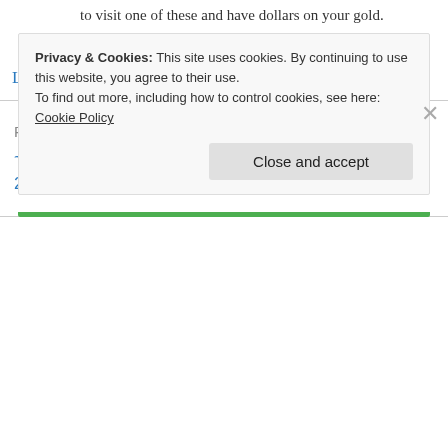to visit one of these and have dollars on your gold.
★ Like
Log in to Reply
Pingback: نتائج جوائز 2013 Korean Updates – ( معلومة ) | ~♥~ Jaejoong Arab Fans ~♥~ جيجونج يفوز بأفضل مغنى فردى 2013
Privacy & Cookies: This site uses cookies. By continuing to use this website, you agree to their use.
To find out more, including how to control cookies, see here: Cookie Policy
Close and accept